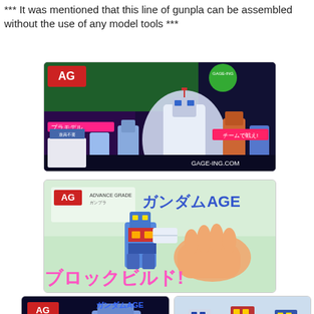*** It was mentioned that this line of gunpla can be assembled without the use of any model tools ***
[Figure (photo): Gunpla AG promotional banner showing large mecha robots, Japanese text, and GAGE-ING.COM branding]
[Figure (photo): Hand holding a small AG Gundam AGE model figure with Japanese text 'Block Build!' in pink neon style]
[Figure (photo): AG Gundam AGE 1/144 scale model box art with Japanese text showing 125mm height and scale info]
[Figure (photo): Multiple assembled Gunpla figures in white, red, and blue color variants displayed together]